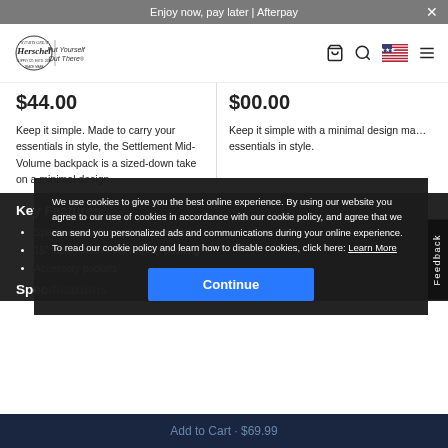Enjoy now, pay later | Afterpay
[Figure (logo): Herschel Supply Co. logo with text 'Put Yourself Out There']
$44.00
$00.00
Keep it simple. Made to carry your essentials in style, the Settlement Mid-Volume backpack is a sized-down take on a minimal design.
Keep it simple with a minimal design made to carry your essentials in style.
Key Features
Spacious main zippered compartment
15" laptop sleeve with laptop padding
Accessory pockets
Specifications
We use cookies to give you the best online experience. By using our website you agree to our use of cookies in accordance with our cookie policy, and agree that we can send you personalized ads and communications during your online experience. To read our cookie policy and learn how to disable cookies, click here: Learn More
Continue
Add to Cart · $69.99